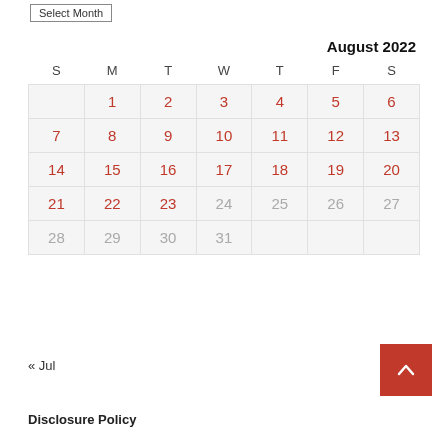Select Month
August 2022
| S | M | T | W | T | F | S |
| --- | --- | --- | --- | --- | --- | --- |
|  | 1 | 2 | 3 | 4 | 5 | 6 |
| 7 | 8 | 9 | 10 | 11 | 12 | 13 |
| 14 | 15 | 16 | 17 | 18 | 19 | 20 |
| 21 | 22 | 23 | 24 | 25 | 26 | 27 |
| 28 | 29 | 30 | 31 |  |  |  |
« Jul
Disclosure Policy